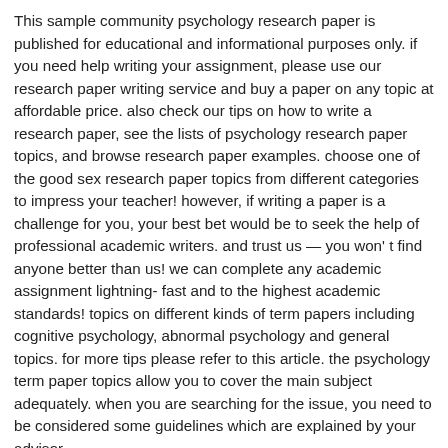This sample community psychology research paper is published for educational and informational purposes only. if you need help writing your assignment, please use our research paper writing service and buy a paper on any topic at affordable price. also check our tips on how to write a research paper, see the lists of psychology research paper topics, and browse research paper examples. choose one of the good sex research paper topics from different categories to impress your teacher! however, if writing a paper is a challenge for you, your best bet would be to seek the help of professional academic writers. and trust us — you won' t find anyone better than us! we can complete any academic assignment lightning- fast and to the highest academic standards! topics on different kinds of term papers including cognitive psychology, abnormal psychology and general topics. for more tips please refer to this article. the psychology term paper topics allow you to cover the main subject adequately. when you are searching for the issue, you need to be considered some guidelines which are explained by your advisor.